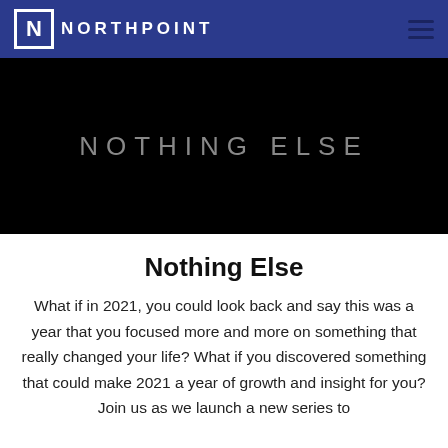NORTHPOINT
[Figure (screenshot): Black hero banner with 'NOTHING ELSE' text in gray, light-tracking uppercase letters centered on a dark background]
Nothing Else
What if in 2021, you could look back and say this was a year that you focused more and more on something that really changed your life? What if you discovered something that could make 2021 a year of growth and insight for you? Join us as we launch a new series to